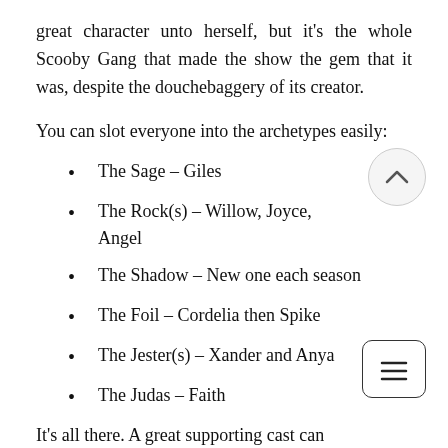great character unto herself, but it's the whole Scooby Gang that made the show the gem that it was, despite the douchebaggery of its creator.
You can slot everyone into the archetypes easily:
The Sage – Giles
The Rock(s) – Willow, Joyce, Angel
The Shadow – New one each season
The Foil – Cordelia then Spike
The Jester(s) – Xander and Anya
The Judas – Faith
It's all there. A great supporting cast can